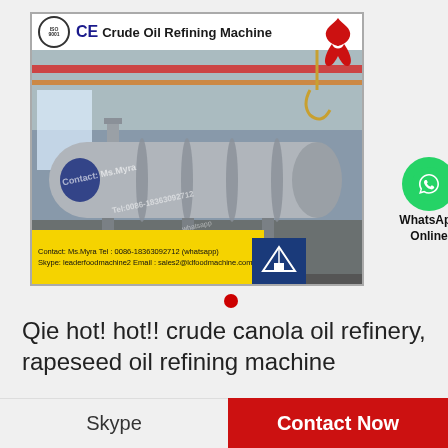[Figure (photo): Photo of a large industrial crude oil refining machine (horizontal cylindrical vessel/heat exchanger) inside a factory. The image has an ISO/CE logo header reading 'Crude Oil Refining Machine', a red AIDS ribbon in the top-right corner, a crane hook visible, contact details in a yellow bar at the bottom (Contact: Ms.Myra Tel: 0086-18363092712 (whatsapp), Skype: leaderfoodmachine2 Email: sales2@ldfoodmachine.com), a blue company logo, and text 'Shandong Largest Edible Oil Refining Equipment Manufacturer'. WhatsApp Online button visible beside the image.]
Qie hot! hot!! crude canola oil refinery, rapeseed oil refining machine
Skype
Contact Now